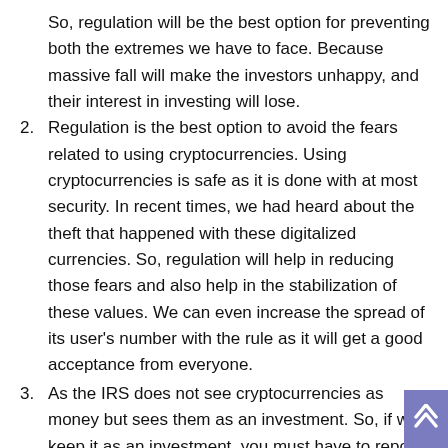So, regulation will be the best option for preventing both the extremes we have to face. Because massive fall will make the investors unhappy, and their interest in investing will lose.
2. Regulation is the best option to avoid the fears related to using cryptocurrencies. Using cryptocurrencies is safe as it is done with at most security. In recent times, we had heard about the theft that happened with these digitalized currencies. So, regulation will help in reducing those fears and also help in the stabilization of these values. We can even increase the spread of its user's number with the rule as it will get a good acceptance from everyone.
3. As the IRS does not see cryptocurrencies as money but sees them as an investment. So, if we keep it as an investment, you must have to report all the gains